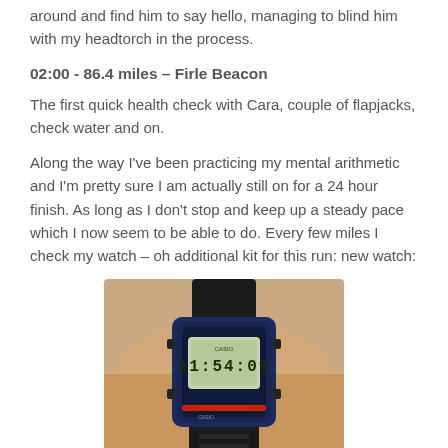around and find him to say hello, managing to blind him with my headtorch in the process.
02:00 - 86.4 miles – Firle Beacon
The first quick health check with Cara, couple of flapjacks, check water and on.
Along the way I've been practicing my mental arithmetic and I'm pretty sure I am actually still on for a 24 hour finish. As long as I don't stop and keep up a steady pace which I now seem to be able to do. Every few miles I check my watch – oh additional kit for this run: new watch:
[Figure (photo): A Casio digital watch worn on a wrist, showing a time display on its LCD screen. The watch has a dark blue/black casing with a black rubber strap.]